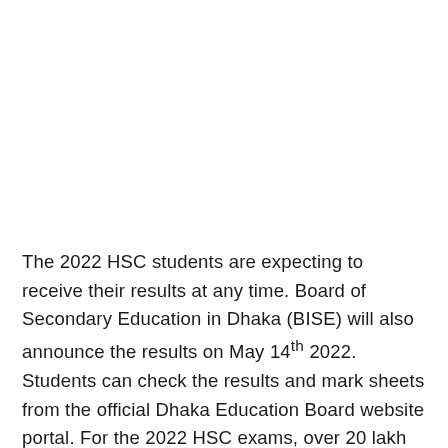The 2022 HSC students are expecting to receive their results at any time. Board of Secondary Education in Dhaka (BISE) will also announce the results on May 14th 2022. Students can check the results and mark sheets from the official Dhaka Education Board website portal. For the 2022 HSC exams, over 20 lakh students appeared and registered for exams.